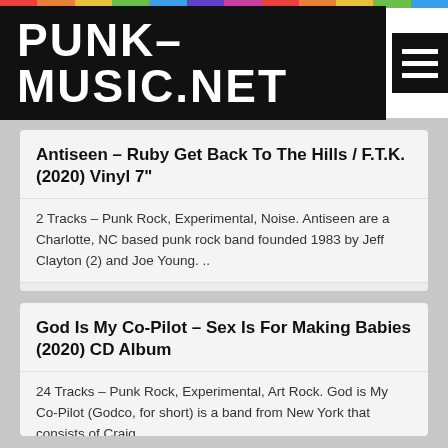PUNK-MUSIC.NET
Antiseen – Ruby Get Back To The Hills / F.T.K. (2020) Vinyl 7"
2 Tracks – Punk Rock, Experimental, Noise. Antiseen are a Charlotte, NC based punk rock band founded 1983 by Jeff Clayton (2) and Joe Young. ..
2 years ago   585
God Is My Co-Pilot – Sex Is For Making Babies (2020) CD Album
24 Tracks – Punk Rock, Experimental, Art Rock. God is My Co-Pilot (Godco, for short) is a band from New York that consists of Craig ..